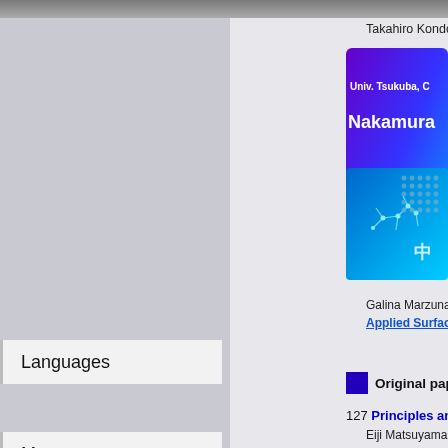[Figure (screenshot): University research lab website screenshot showing Nakamura lab at Univ. Tsukuba with navigation sidebar and publication listings]
Takahiro Kondo, Do...
[Figure (illustration): Banner image showing Univ. Tsukuba, Nakamura lab branding with molecular structure and nanoparticle grid images on purple/blue background]
Galina Marzuna, Jun...
Applied Surface Sc...
Original papers p...
127 Principles and App...
Eiji Matsuyama, Tak...
Scientific Reports ...
Languages
Message
People
Researches
Publications